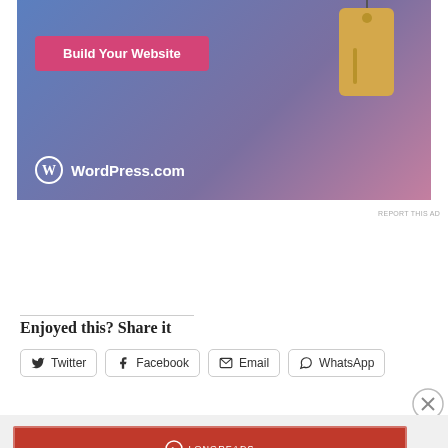[Figure (illustration): WordPress.com advertisement banner with blue-to-purple-pink gradient background, a pink 'Build Your Website' button, a hanging price tag illustration, and WordPress.com logo at bottom left]
REPORT THIS AD
Enjoyed this? Share it
Twitter  Facebook  Email  WhatsApp
Advertisements
[Figure (illustration): Longreads advertisement banner: red background with Longreads logo and tagline 'The best stories on the web – ours, and everyone else's.']